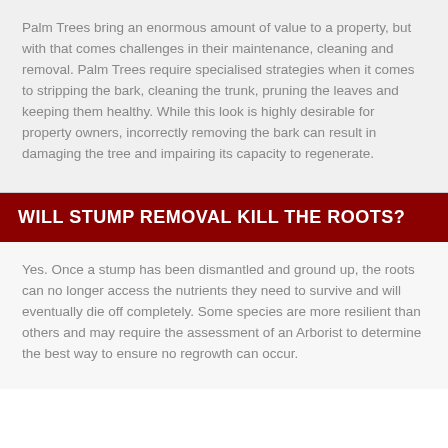Palm Trees bring an enormous amount of value to a property, but with that comes challenges in their maintenance, cleaning and removal. Palm Trees require specialised strategies when it comes to stripping the bark, cleaning the trunk, pruning the leaves and keeping them healthy. While this look is highly desirable for property owners, incorrectly removing the bark can result in damaging the tree and impairing its capacity to regenerate.
WILL STUMP REMOVAL KILL THE ROOTS?
Yes. Once a stump has been dismantled and ground up, the roots can no longer access the nutrients they need to survive and will eventually die off completely. Some species are more resilient than others and may require the assessment of an Arborist to determine the best way to ensure no regrowth can occur.